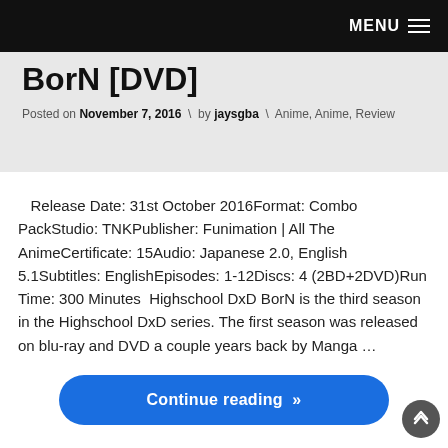MENU ≡
BorN [DVD]
Posted on November 7, 2016 \ by jaysgba \ Anime, Anime, Review
Release Date: 31st October 2016Format: Combo PackStudio: TNKPublisher: Funimation | All The AnimeCertificate: 15Audio: Japanese 2.0, English 5.1Subtitles: EnglishEpisodes: 1-12Discs: 4 (2BD+2DVD)Run Time: 300 Minutes  Highschool DxD BorN is the third season in the Highschool DxD series. The first season was released on blu-ray and DVD a couple years back by Manga …
Continue reading »